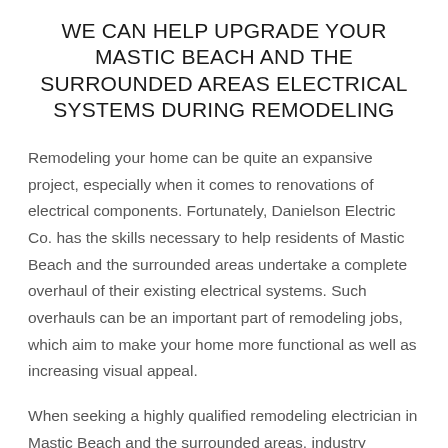WE CAN HELP UPGRADE YOUR MASTIC BEACH AND THE SURROUNDED AREAS ELECTRICAL SYSTEMS DURING REMODELING
Remodeling your home can be quite an expansive project, especially when it comes to renovations of electrical components. Fortunately, Danielson Electric Co. has the skills necessary to help residents of Mastic Beach and the surrounded areas undertake a complete overhaul of their existing electrical systems. Such overhauls can be an important part of remodeling jobs, which aim to make your home more functional as well as increasing visual appeal.
When seeking a highly qualified remodeling electrician in Mastic Beach and the surrounded areas, industry experience is crucial to a job well done. That's why all of